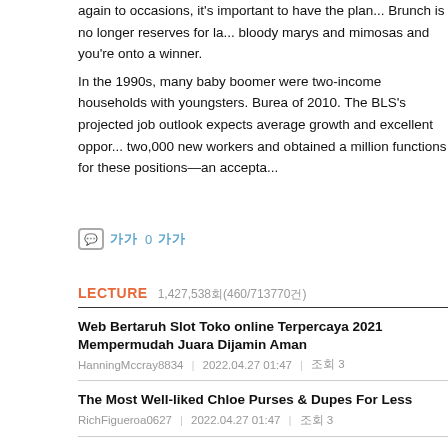again to occasions, it's important to have the plan... Brunch is no longer reserves for la... bloody marys and mimosas and you're onto a winner.
In the 1990s, many baby boomer were two-income households with youngsters. Bureau of 2010. The BLS's projected job outlook expects average growth and excellent oppor... two,000 new workers and obtained a million functions for these positions—an accepta...
0 0
LECTURE  1,427,538회(460/713770건)
Web Bertaruh Slot Toko online Terpercaya 2021 Mempermudah Juara Dijamin Aman
HanningMccray8834  |  2022.04.27 01:47  |  조회 3
The Most Well-liked Chloe Purses & Dupes For Less
RichFigueroa0627  |  2022.04.27 01:47  |  조회 3
Etyka W Szkole - RODZICE.PL - Ciąża, Poród, Dziecko
ThroneKregh6326  |  2022.04.27 01:47  |  조회 4